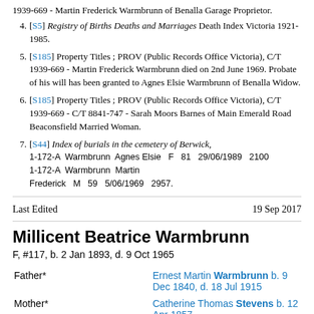1939-669 - Martin Frederick Warmbrunn of Benalla Garage Proprietor.
4. [S5] Registry of Births Deaths and Marriages Death Index Victoria 1921-1985.
5. [S185] Property Titles ; PROV (Public Records Office Victoria), C/T 1939-669 - Martin Frederick Warmbrunn died on 2nd June 1969. Probate of his will has been granted to Agnes Elsie Warmbrunn of Benalla Widow.
6. [S185] Property Titles ; PROV (Public Records Office Victoria), C/T 1939-669 - C/T 8841-747 - Sarah Moors Barnes of Main Emerald Road Beaconsfield Married Woman.
7. [S44] Index of burials in the cemetery of Berwick, 1-172-A Warmbrunn Agnes Elsie F 81 29/06/1989 2100 1-172-A Warmbrunn Martin Frederick M 59 5/06/1969 2957.
Last Edited   19 Sep 2017
Millicent Beatrice Warmbrunn
F, #117, b. 2 Jan 1893, d. 9 Oct 1965
|  |  |
| --- | --- |
| Father* | Ernest Martin Warmbrunn b. 9 Dec 1840, d. 18 Jul 1915 |
| Mother* | Catherine Thomas Stevens b. 12 Apr 1857, |